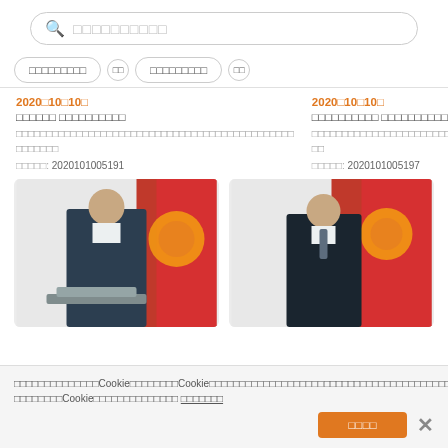[Figure (screenshot): Search bar with search icon and placeholder text (squares representing non-Latin characters)]
2020年10月10日
2020年10月10日
OOOOOO OOOOOOOOOO
OOOOOOOOOO OOOOOOOOOO
OOOOOOOOOOOOOOOOOOOOOOOOOOOOOOOOOOOOOOOOOOOOOO OOOOOOO
OOOOOOOOOOOOOOOOOOOOOOOOOOOOOOOOOOOOOOOOOOOOOO OO
OOOOO: 2020101005191
OOOOO: 2020101005197
[Figure (photo): Man in dark suit standing at podium with Kyrgyzstan flag in background]
[Figure (photo): Man in dark suit with tie standing with Kyrgyzstan flag in background]
OOOOOOOOOOOOOCookieOOOOOOOOCookieOOOOOOOOOOOOOOOOOOOOOOOOOOOOOOOOOOOOOOOOOOOOOOOOOOOOOOOOOOOOOOOOOCookieOOOOOOOOOOOOOO OOOOOOO
OOOOO